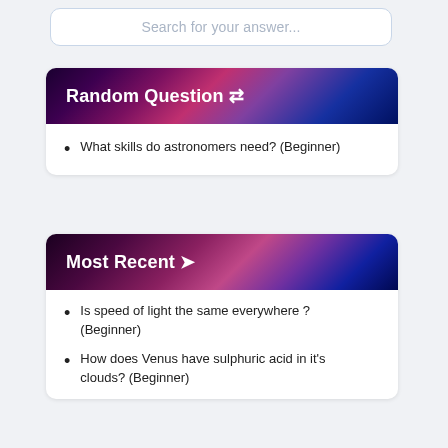Search for your answer...
Random Question
What skills do astronomers need? (Beginner)
Most Recent
Is speed of light the same everywhere ? (Beginner)
How does Venus have sulphuric acid in it's clouds? (Beginner)